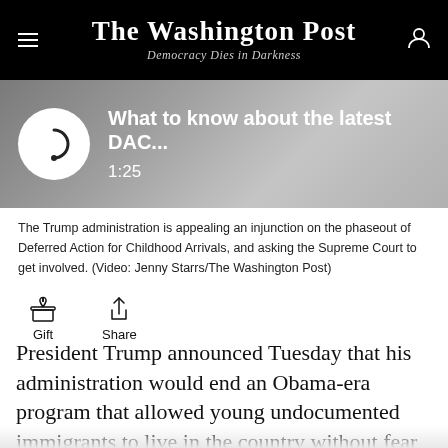The Washington Post
Democracy Dies in Darkness
[Figure (screenshot): Video thumbnail with play button showing Washington Post video titled 'What to know about the latest DAC...' with duration 1:25]
The Trump administration is appealing an injunction on the phaseout of Deferred Action for Childhood Arrivals, and asking the Supreme Court to get involved. (Video: Jenny Starrs/The Washington Post)
Gift   Share
President Trump announced Tuesday that his administration would end an Obama-era program that allowed young undocumented immigrants to live in the country without fear of deportation, calling the program unconstitutional and challenging Congress to address